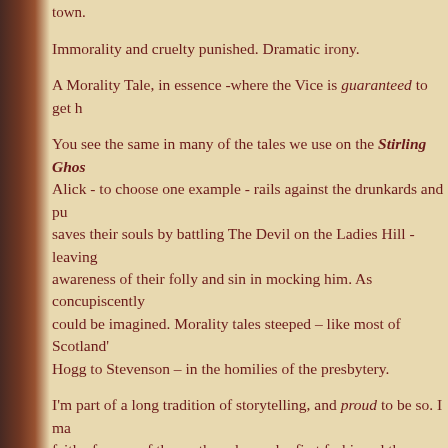town.
Immorality and cruelty punished. Dramatic irony.
A Morality Tale, in essence -where the Vice is guaranteed to get h
You see the same in many of the tales we use on the Stirling Ghos Alick - to choose one example - rails against the drunkards and pu saves their souls by battling The Devil on the Ladies Hill - leaving awareness of their folly and sin in mocking him. As concupiscently could be imagined. Morality tales steeped – like most of Scotland' Hogg to Stevenson – in the homilies of the presbytery.
I'm part of a long tradition of storytelling, and proud to be so. I ma faith of many of the myth-makers who first fashioned these tales fr but I am (again, I sincerely hope) a moral creature, and am happy t moral denouement.
I'm happy, too, to say that in 25 years I don't think anyone has par and been inspired to sacrifice a virgin or dabble in the Dark Arts. T be so blithely stupid as to mistake a popular entertainment – or a F diversity of belief and experience – for an 'occult agenda' is, to say collective intelligence of the population, and demonstrates a pitifu